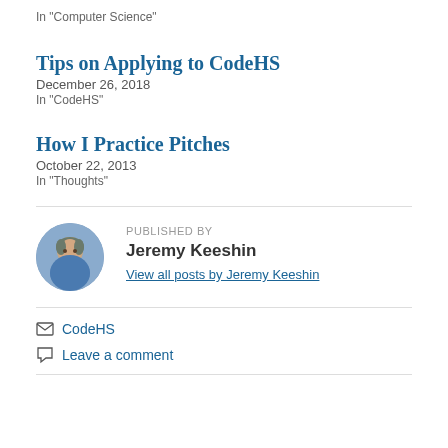In "Computer Science"
Tips on Applying to CodeHS
December 26, 2018
In "CodeHS"
How I Practice Pitches
October 22, 2013
In "Thoughts"
PUBLISHED BY
Jeremy Keeshin
View all posts by Jeremy Keeshin
CodeHS
Leave a comment